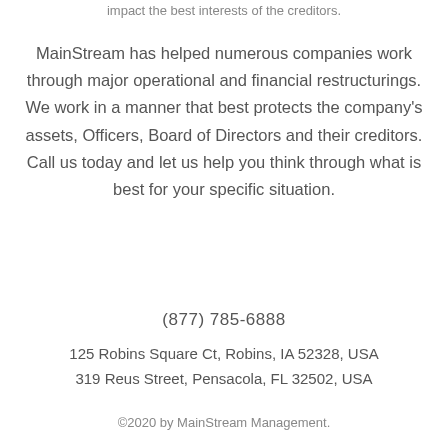impact the best interests of the creditors.
MainStream has helped numerous companies work through major operational and financial restructurings. We work in a manner that best protects the company's assets, Officers, Board of Directors and their creditors. Call us today and let us help you think through what is best for your specific situation.
(877) 785-6888
125 Robins Square Ct, Robins, IA 52328, USA
319 Reus Street, Pensacola, FL 32502, USA
©2020 by MainStream Management.